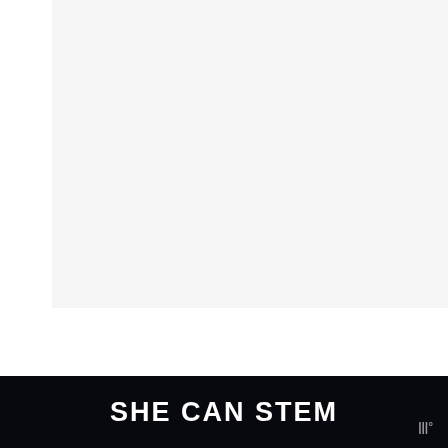[Figure (other): White blank/empty image area at top of page]
The other tool that's worth mentioning is lint-free rags. We don't use disposable wipes because would be a lot of wipes going into the trash. Instead we use scrub brushes for the showers/tubs, toilet brushes for the toilets, and rags for wi
SHE CAN STEM